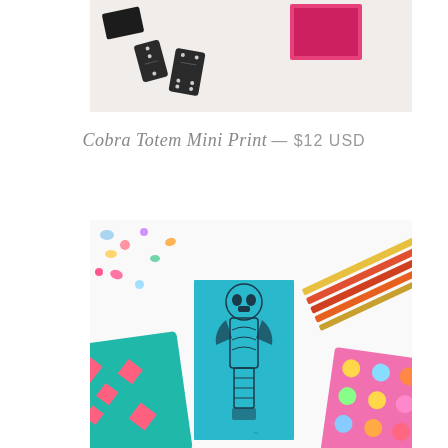[Figure (photo): Photo of black domino pieces and a pink card with design on a light gray surface]
Cobra Totem Mini Print — $12 USD
[Figure (photo): Photo of a teal mini print featuring a cobra totem illustration, surrounded by colorful pencils, confetti, and decorative paper items]